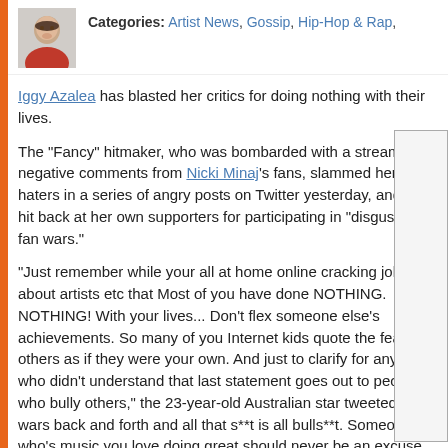Categories: Artist News, Gossip, Hip-Hop & Rap,
Iggy Azalea has blasted her critics for doing nothing with their lives.
The "Fancy" hitmaker, who was bombarded with a stream of negative comments from Nicki Minaj's fans, slammed her haters in a series of angry posts on Twitter yesterday, and also hit back at her own supporters for participating in "disgusting fan wars."
"Just remember while your all at home online cracking jokes about artists etc that Most of you have done NOTHING. NOTHING! With your lives... Don't flex someone else's achievements. So many of you Internet kids quote the feats of others as if they were your own. And just to clarify for anyone who didn't understand that last statement goes out to people who bully others," the 23-year-old Australian star tweeted. "Fan wars back and forth and all that s**t is all bulls**t. Someone who's music you love doing great should never be an excuse to be awful to others. That's my point I suppose. I just find it really disgusting."
Click to continue reading Iggy Azalea Blasts Her Critics and Fans